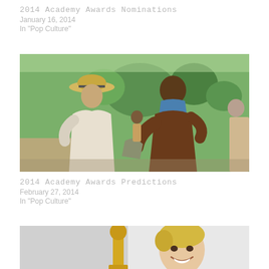2014 Academy Awards Nominations
January 16, 2014
In "Pop Culture"
[Figure (photo): Two men talking outdoors on a film set. One man wears a straw boater hat and light-colored clothing; the other wears a brown shirt with a blue towel around his neck, holding a bag. Green trees and fields visible in background.]
2014 Academy Awards Predictions
February 27, 2014
In "Pop Culture"
[Figure (photo): Woman with short blonde hair smiling, holding a golden Oscar statuette. Partial view, image cropped at bottom of page.]